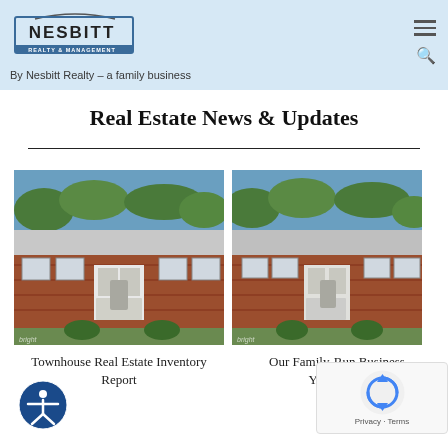Nesbitt Realty & Management — By Nesbitt Realty – a family business
Real Estate News & Updates
[Figure (photo): Brick townhouse exterior with white door and shutters, green trees in background. Bright MLS watermark.]
Townhouse Real Estate Inventory Report
[Figure (photo): Brick townhouse exterior similar to left photo, partially cropped. Bright MLS watermark.]
Our Family-Run Business — Your Place